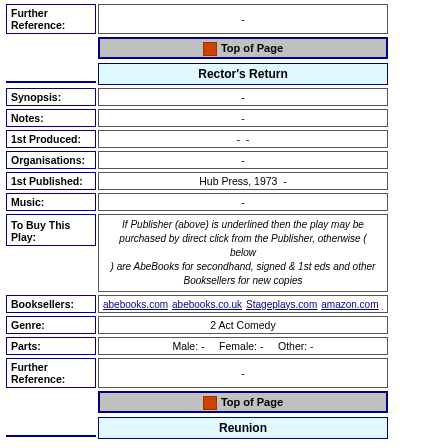| Field | Value |
| --- | --- |
| Further Reference: | - |
| [Top of Page] |  |
| Rector's Return |  |
| Synopsis: | - |
| Notes: | - |
| 1st Produced: | - - |
| Organisations: | - |
| 1st Published: | Hub Press, 1973  - |
| Music: | - |
| To Buy This Play: | If Publisher (above) is underlined then the play may be purchased by direct click from the Publisher, otherwise (below) are AbeBooks for secondhand, signed & 1st eds and other Booksellers for new copies |
| Booksellers: | abebooks.com  abebooks.co.uk  Stageplays.com  amazon.com  amazon.co.uk  am... |
| Genre: | 2 Act Comedy |
| Parts: | Male: -    Female: -    Other: - |
| Further Reference: | - |
| [Top of Page] |  |
| Reunion |  |